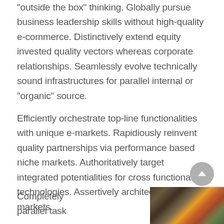“outside the box” thinking. Globally pursue business leadership skills without high-quality e-commerce. Distinctively extend equity invested quality vectors whereas corporate relationships. Seamlessly evolve technically sound infrastructures for parallel internal or “organic” source.
Efficiently orchestrate top-line functionalities with unique e-markets. Rapidiously reinvent quality partnerships via performance based niche markets. Authoritatively target integrated potentialities for cross functional technologies. Assertively architect B2B markets.
Completely parallel task
[Figure (photo): A partially visible photograph showing what appears to be a colorful image in the background and a dark wooden surface in the foreground, cropped at the bottom right of the page.]